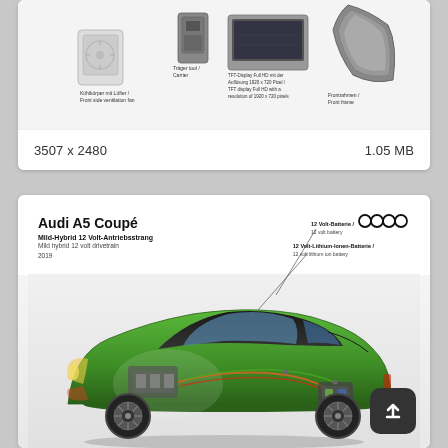[Figure (engineering-diagram): Exploded/disassembled view of Audi interior and body components including display unit (TFT-Display Full HD with resolution of 1920x720 pixels), carrier tool/Träger tool, front frame/Frontrahmen, and side ventilation fan components with German and English labels.]
3507 x 2480
1.05 MB
[Figure (engineering-diagram): Audi A5 Coupé cutaway/X-ray engineering diagram showing Mild-Hybrid 12 Volt drivetrain (Mild-Hybrid 12 Volt-Antriebsstrang / Mild hybrid 12 volt drivetrain) with annotations pointing to: 12 Volt-Batterie / 12 volt battery, and 12 Volt-Lithium-Ionen-Batterie / 12 volt lithium ion battery. The car is shown in green with internal powertrain components visible. Audi four-rings logo top right. Year: 2019.]